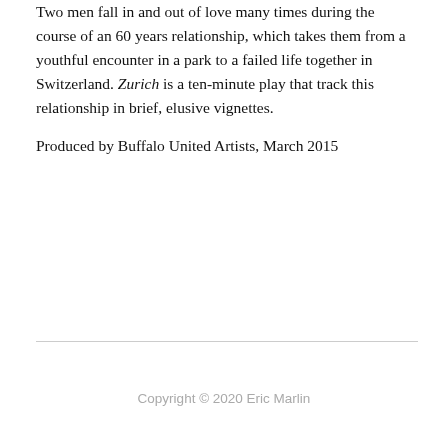Two men fall in and out of love many times during the course of an 60 years relationship, which takes them from a youthful encounter in a park to a failed life together in Switzerland. Zurich is a ten-minute play that track this relationship in brief, elusive vignettes.
Produced by Buffalo United Artists, March 2015
Copyright © 2020 Eric Marlin